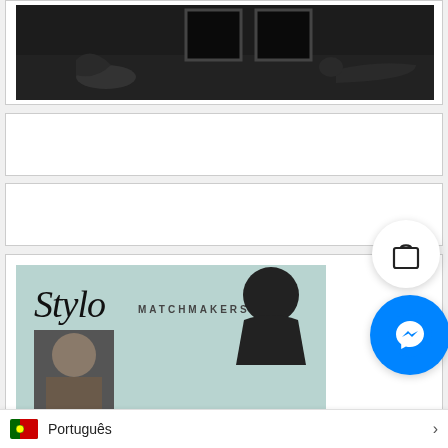[Figure (photo): Black and white photograph showing a person on the floor near framed artwork on a wall, dark moody atmosphere]
[Figure (photo): Empty white card/content placeholder region]
[Figure (photo): Empty white card/content placeholder region]
[Figure (logo): Stylo Matchmakers card with light teal background, cursive Stylo logo, MATCHMAKERS text, and a person photo]
[Figure (screenshot): Language selector bar showing Portuguese flag and 'Português' text with arrow]
[Figure (other): Shopping bag icon button (circular white button with bag icon)]
[Figure (other): Facebook Messenger circular blue button with lightning bolt icon]